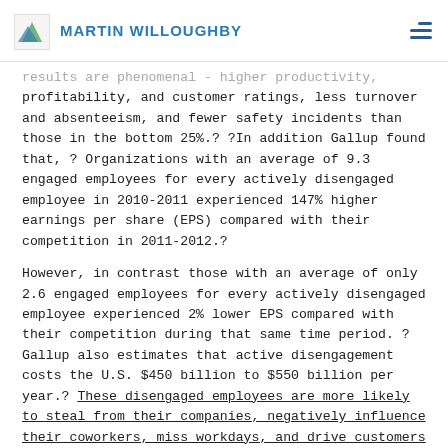MARTIN WILLOUGHBY
results are phenomenal - higher productivity, profitability, and customer ratings, less turnover and absenteeism, and fewer safety incidents than those in the bottom 25%.? ?In addition Gallup found that, ? Organizations with an average of 9.3 engaged employees for every actively disengaged employee in 2010-2011 experienced 147% higher earnings per share (EPS) compared with their competition in 2011-2012.?
However, in contrast those with an average of only 2.6 engaged employees for every actively disengaged employee experienced 2% lower EPS compared with their competition during that same time period. ?Gallup also estimates that active disengagement costs the U.S. $450 billion to $550 billion per year.? These disengaged employees are more likely to steal from their companies, negatively influence their coworkers, miss workdays, and drive customers away.